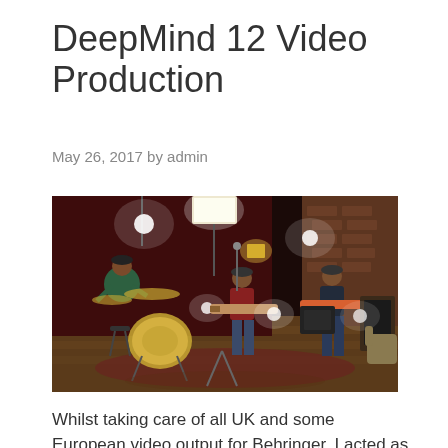DeepMind 12 Video Production
May 26, 2017 by admin
[Figure (photo): Three musicians performing in a recording studio. A drummer in a green shirt and cap sits at a drum kit on the left. A guitarist in the center plays an electric guitar. Another guitarist on the right plays near a brick wall. Studio lighting rigs illuminate the scene. Hardwood floors and a patterned rug visible.]
Whilst taking care of all UK and some European video output for Behringer, I acted as director of photography, and camera operator, and was also responsible…